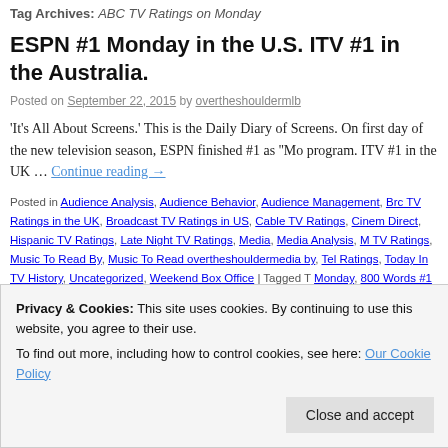Tag Archives: ABC TV Ratings on Monday
ESPN #1 Monday in the U.S. ITV #1 in the Australia.
Posted on September 22, 2015 by overtheshouldermlb
'It's All About Screens.' This is the Daily Diary of Screens. On first day of the new television season, ESPN finished #1 as 'Mo program. ITV #1 in the UK … Continue reading →
Posted in Audience Analysis, Audience Behavior, Audience Management, Broadcast TV Ratings in the UK, Broadcast TV Ratings in US, Cable TV Ratings, Cinema Direct, Hispanic TV Ratings, Late Night TV Ratings, Media, Media Analysis, TV Ratings, Music To Read By, Music To Read overtheshouldermedia by, Television Ratings, Today In TV History, Uncategorized, Weekend Box Office | Tagged Monday, 800 Words #1 program in Australia Tuesday, ABC TV Ratings in Aus...
Privacy & Cookies: This site uses cookies. By continuing to use this website, you agree to their use.
To find out more, including how to control cookies, see here: Our Cookie Policy
Close and accept